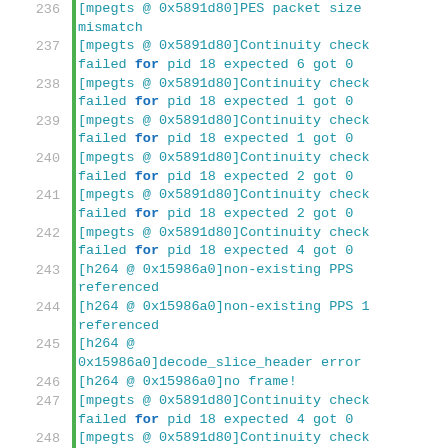236 [mpegts @ 0x5891d80]PES packet size mismatch
237 [mpegts @ 0x5891d80]Continuity check failed for pid 18 expected 6 got 0
238 [mpegts @ 0x5891d80]Continuity check failed for pid 18 expected 1 got 0
239 [mpegts @ 0x5891d80]Continuity check failed for pid 18 expected 1 got 0
240 [mpegts @ 0x5891d80]Continuity check failed for pid 18 expected 2 got 0
241 [mpegts @ 0x5891d80]Continuity check failed for pid 18 expected 2 got 0
242 [mpegts @ 0x5891d80]Continuity check failed for pid 18 expected 4 got 0
243 [h264 @ 0x15986a0]non-existing PPS referenced
244 [h264 @ 0x15986a0]non-existing PPS 1 referenced
245 [h264 @ 0x15986a0]decode_slice_header error
246 [h264 @ 0x15986a0]no frame!
247 [mpegts @ 0x5891d80]Continuity check failed for pid 18 expected 4 got 0
248 [mpegts @ 0x5891d80]Continuity check failed for pid 18 expected 2 got 0
249 [mpegts @ 0x5891d80]Continuity check failed for pid 18 expected 2 got 0
250 [mpegts @ 0x5891d80]Continuity check (partial)